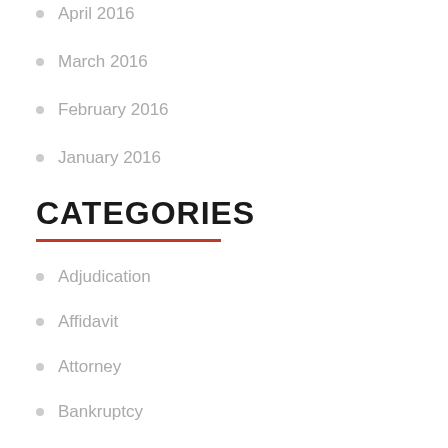April 2016
March 2016
February 2016
January 2016
CATEGORIES
Adjudication
Affidavit
Attorney
Bankruptcy
Bankruptcy Attorney
Bankruptcy Lawyers